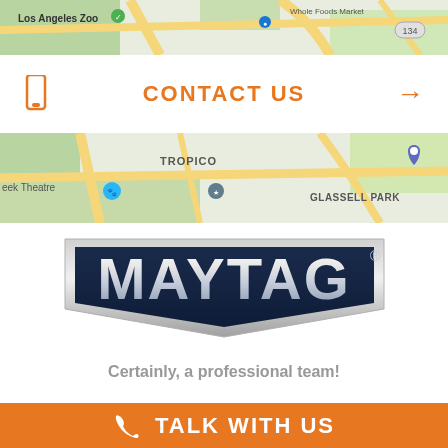[Figure (map): Top portion of a Google Maps view showing Los Angeles area with green park areas, roads, and labels including 'Los Angeles Zoo' and route 134]
CONTACT US →
[Figure (map): Bottom portion of a Google Maps view showing TROPICO and GLASSELL PARK areas with roads and map pins]
[Figure (logo): Maytag brand logo — dark navy blue badge shape with silver/chrome 'MAYTAG®' lettering and metallic border]
Certainly, a professional team!
TALK WITH US